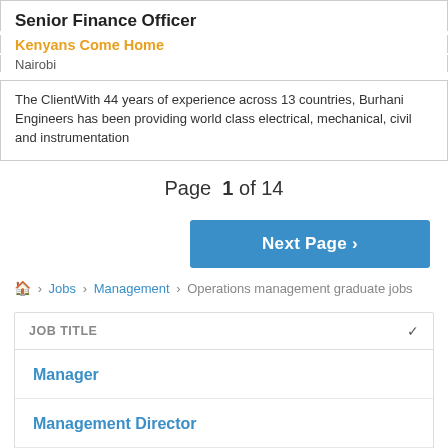Senior Finance Officer
Kenyans Come Home
Nairobi
The ClientWith 44 years of experience across 13 countries, Burhani Engineers has been providing world class electrical, mechanical, civil and instrumentation
Page 1 of 14
Next Page ›
🏠 › Jobs › Management › Operations management graduate jobs
JOB TITLE
Manager
Management Director